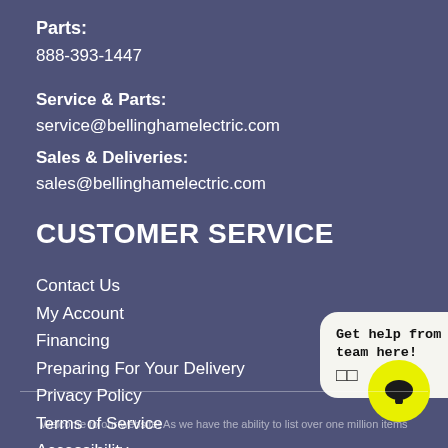Parts:
888-393-1447
Service & Parts:
service@bellinghamelectric.com
Sales & Deliveries:
sales@bellinghamelectric.com
CUSTOMER SERVICE
Contact Us
My Account
Financing
Preparing For Your Delivery
Privacy Policy
Terms of Service
Accessibility
Site Map
Do Not Sell My Personal Information
[Figure (screenshot): Chat widget popup showing 'Get help from our team here!' with emoji icons, and a yellow circular chat button]
Welcome to our website! As we have the ability to list over one million items